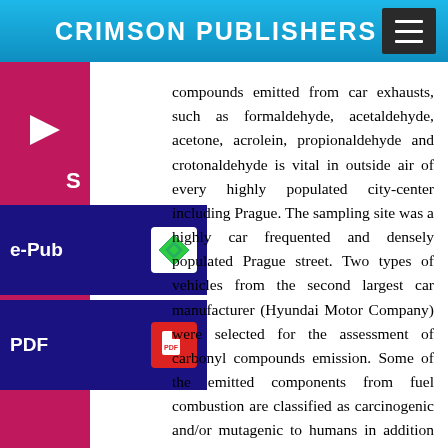CRIMSON PUBLISHERS
compounds emitted from car exhausts, such as formaldehyde, acetaldehyde, acetone, acrolein, propionaldehyde and crotonaldehyde is vital in outside air of every highly populated city-center including Prague. The sampling site was a highly car frequented and densely populated Prague street. Two types of vehicles from the second largest car manufacturer (Hyundai Motor Company) were selected for the assessment of carbonyl compounds emission. Some of the emitted components from fuel combustion are classified as carcinogenic and/or mutagenic to humans in addition to